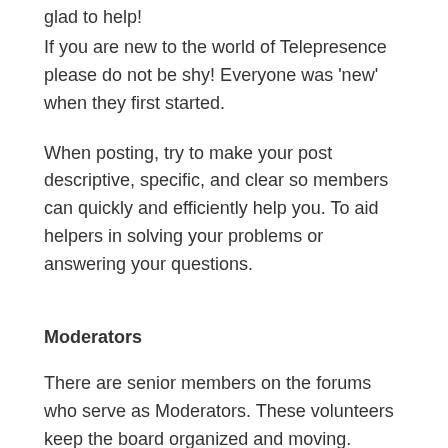glad to help!
If you are new to the world of Telepresence please do not be shy! Everyone was 'new' when they first started.
When posting, try to make your post descriptive, specific, and clear so members can quickly and efficiently help you. To aid helpers in solving your problems or answering your questions.
Moderators
There are senior members on the forums who serve as Moderators. These volunteers keep the board organized and moving.
Moderators are authorized to: (in order of increasing